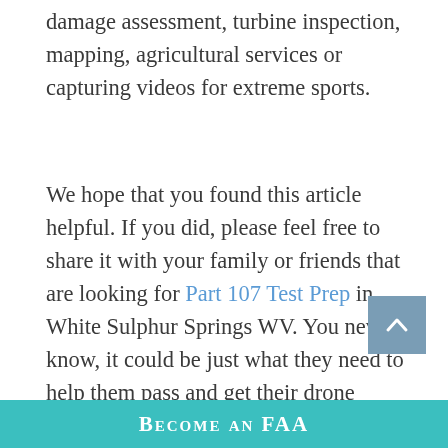damage assessment, turbine inspection, mapping, agricultural services or capturing videos for extreme sports.
We hope that you found this article helpful. If you did, please feel free to share it with your family or friends that are looking for Part 107 Test Prep in White Sulphur Springs WV. You never know, it could be just what they need to help them pass and get their drone license.
Click Here to Save $50 off Drone Pilot Ground School's online Test Prep course with coupon code DRONEPILOT50
Become an FAA